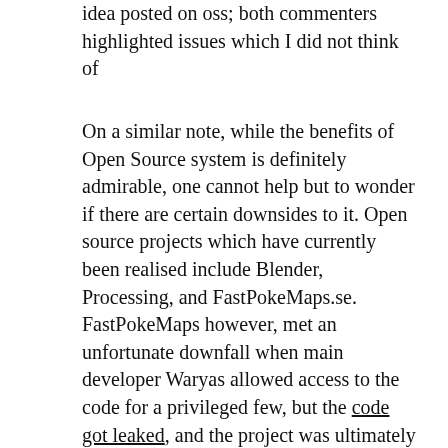idea posted on oss; both commenters highlighted issues which I did not think of
On a similar note, while the benefits of Open Source system is definitely admirable, one cannot help but to wonder if there are certain downsides to it. Open source projects which have currently been realised include Blender, Processing, and FastPokeMaps.se. FastPokeMaps however, met an unfortunate downfall when main developer Waryas allowed access to the code for a privileged few, but the code got leaked, and the project was ultimately stopped as a result. As a budding creator, while the open source system is helpful, I feel the need to be wary about the artwork/information I put up on the collaborative platform. Ultimately, this may defeat the purpose of the open; perhaps what we need is a synthesis of both safeguards, and responsible usage. For the starting artist though, the open source